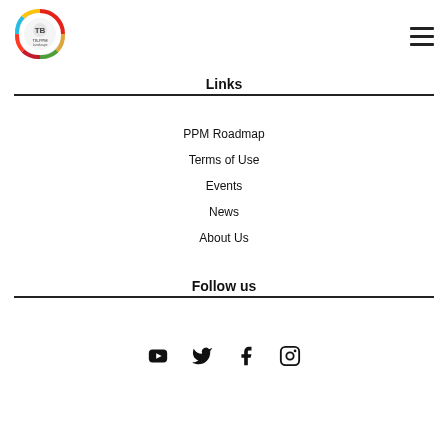TB-PPM
Links
PPM Roadmap
Terms of Use
Events
News
About Us
Follow us
[Figure (illustration): Social media icons: YouTube, Twitter, Facebook, Instagram]